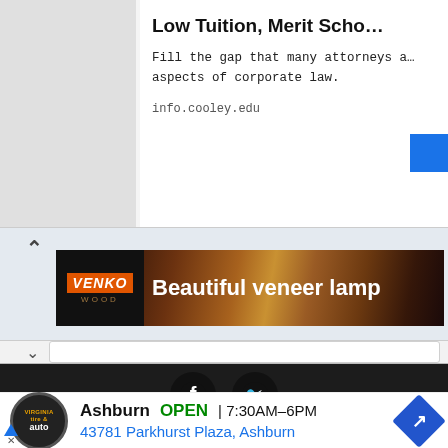[Figure (screenshot): Advertisement for info.cooley.edu with title 'Low Tuition, Merit Scho...' and body text 'Fill the gap that many attorneys a... aspects of corporate law.' with a blue button on the right]
[Figure (screenshot): VENKO Wood product banner showing 'Beautiful veneer lamp' with dark background and amber/wood tones. Chevron up arrow on left.]
Copyright © Top Best Alternatives
About   Contact   Privacy Policy
[Figure (screenshot): Google ad for Virginia Tire & Auto in Ashburn showing OPEN 7:30AM-6PM, 43781 Parkhurst Plaza, Ashburn with navigation arrow button]